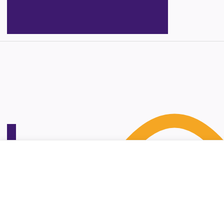[Figure (illustration): Dark purple/violet rectangular banner in the upper-left portion of the page, representing a website header element]
[Figure (illustration): Partial golden/yellow arc or rainbow shape visible at lower-right of the white content area, partially cropped]
We use cookies on our website to give you the most relevant experience by remembering your preferences and repeat visits. By clicking “Accept”, you consent to the use of ALL the cookies.
Cookie settings
ACCEPTER